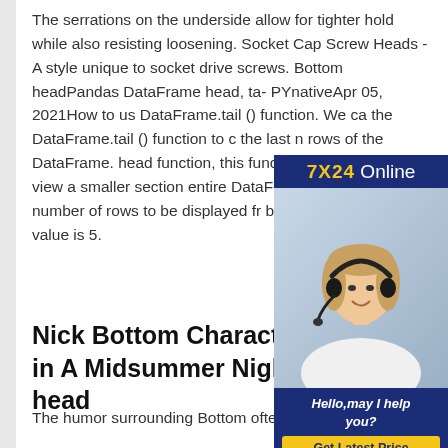The serrations on the underside allow for tighter hold while also resisting loosening. Socket Cap Screw Heads - A style unique to socket drive screws. Bottom headPandas DataFrame head, ta- PYnativeApr 05, 2021How to us DataFrame.tail () function. We ca the DataFrame.tail () function to c the last n rows of the DataFrame. head function, this function is use we want to view a smaller section entire DataFrame. It takes input a number of rows to be displayed fr bottom. The default value is 5.
[Figure (photo): Advertisement banner showing a woman with a headset smiling. Header reads '7X24 Online'. Bottom section reads 'Hello, may I help you?' with a 'Get Latest Price' button.]
Nick Bottom Character Analysis in A Midsummer Nights Bottom head
The humor surrounding Bottom often